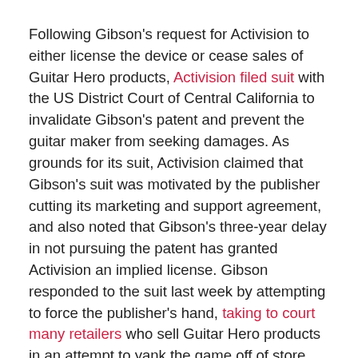Following Gibson's request for Activision to either license the device or cease sales of Guitar Hero products, Activision filed suit with the US District Court of Central California to invalidate Gibson's patent and prevent the guitar maker from seeking damages. As grounds for its suit, Activision claimed that Gibson's suit was motivated by the publisher cutting its marketing and support agreement, and also noted that Gibson's three-year delay in not pursuing the patent has granted Activision an implied license. Gibson responded to the suit last week by attempting to force the publisher's hand, taking to court many retailers who sell Guitar Hero products in an attempt to yank the game off of store shelves.
Gibson has yet to file any formal complaint against Activision, a spokesperson representing the publisher confirmed for GameSpot.
Gibson isn't waiting to drop the gloves with Activision's former partner on Guitar Hero, given that the guitar maker challenged EA, MTV, and Harmonix on Thursday in the US District Court of